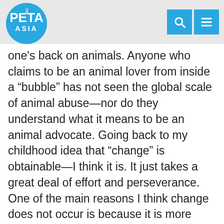PETA ASIA
one's back on animals. Anyone who claims to be an animal lover from inside a “bubble” has not seen the global scale of animal abuse—nor do they understand what it means to be an animal advocate. Going back to my childhood idea that “change” is obtainable—I think it is. It just takes a great deal of effort and perseverance. One of the main reasons I think change does not occur is because it is more convenient to be a spectator and rely on others to be the participants, but if everyone were a spectator, who would be left as participants? We all are given special talents to help make this world better. It is up to each of us to decide how best to use those talents. Because of my opportunity with PETA, I know that change is obtainable.